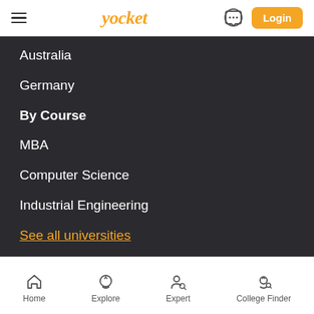Yocket — Login
Australia
Germany
By Course
MBA
Computer Science
Industrial Engineering
See all universities
YOCKET TOOLS & SERVICES
Grad School Finder
Undergrad College Finder
Home  Explore  Expert  College Finder